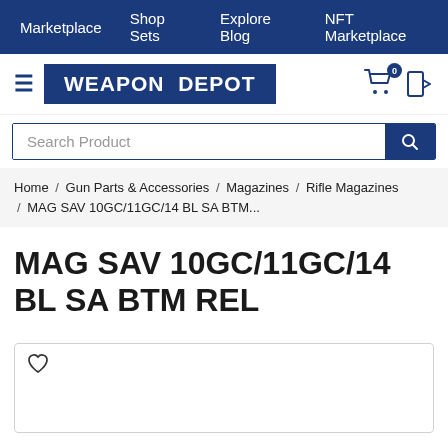Marketplace  Shop Sets  Explore Blog  NFT Marketplace
[Figure (logo): Weapon Depot logo with hamburger menu, cart icon with badge 0, and login icon]
Search Product
Home / Gun Parts & Accessories / Magazines / Rifle Magazines / MAG SAV 10GC/11GC/14 BL SA BTM...
MAG SAV 10GC/11GC/14 BL SA BTM REL
[Figure (other): Product image card with wishlist heart icon, empty image area]